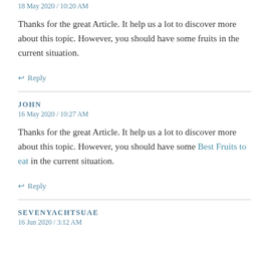18 May 2020 / 10:20 AM
Thanks for the great Article. It help us a lot to discover more about this topic. However, you should have some fruits in the current situation.
↩ Reply
JOHN
16 May 2020 / 10:27 AM
Thanks for the great Article. It help us a lot to discover more about this topic. However, you should have some Best Fruits to eat in the current situation.
↩ Reply
SEVENYACHTSUAE
16 Jun 2020 / 3:12 AM